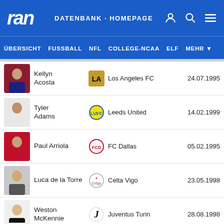ran DATENBANK - HOMEPAGE
ÜBERSICHT  FUSSBALL  NFL  COLLEGE-NCAA  ELF  MEHR
| Player | Club | Birthdate |
| --- | --- | --- |
| Kellyn Acosta | Los Angeles FC | 24.07.1995 |
| Tyler Adams | Leeds United | 14.02.1999 |
| Paul Arriola | FC Dallas | 05.02.1995 |
| Luca de la Torre | Celta Vigo | 23.05.1998 |
| Weston McKennie | Juventus Turin | 28.08.1998 |
| Djordje Mihailovic | CF Montréal | 10.11.1998 |
| Yunus Musah | Valencia CF | 29.11.2002 |
| Cristian | ... | ... |